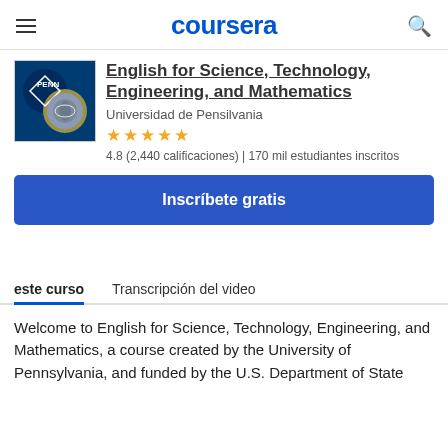coursera
English for Science, Technology, Engineering, and Mathematics
Universidad de Pensilvania
4.8 (2,440 calificaciones) | 170 mil estudiantes inscritos
Inscríbete gratis
este curso   Transcripción del video
Welcome to English for Science, Technology, Engineering, and Mathematics, a course created by the University of Pennsylvania, and funded by the U.S. Department of State